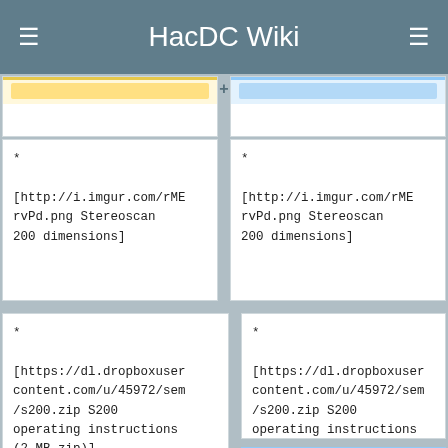HacDC Wiki
* [http://i.imgur.com/rMErvPd.png Stereoscan 200 dimensions]
* [http://i.imgur.com/rMErvPd.png Stereoscan 200 dimensions]
* [https://dl.dropboxusercontent.com/u/45972/sem/s200.zip S200 operating instructions (2 MB zip)]
* [https://dl.dropboxusercontent.com/u/45972/sem/s200.zip S200 operating instructions (2 MB zip)]
* Edwards E2M-12 roughing pump user instruction manual: